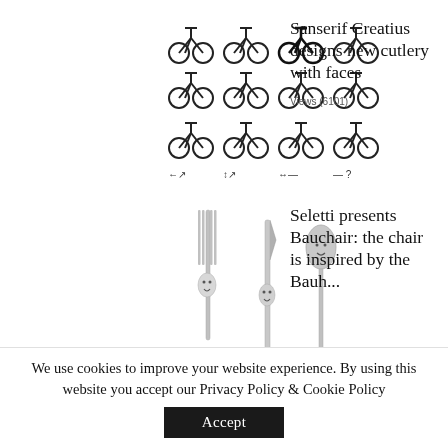[Figure (illustration): Grid of 12 bicycle illustrations in 3 rows of 4, with small icons below]
Sanserif Creatius designs new cutlery with faces
Views (6101)
[Figure (photo): Three pieces of cutlery (fork, knife, spoon) with faces, silver/chrome finish]
Seletti presents Bauchair: the chair is inspired by the Bauh...
Views (6013)
[Figure (illustration): No photo placeholder image with blue text 'No photo' and reflection]
Kate Moss St Tropez 2013: Top model posed
We use cookies to improve your website experience. By using this website you accept our Privacy Policy & Cookie Policy
Accept